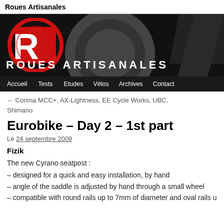Roues Artisanales
[Figure (logo): Roues Artisanales website banner with red R logo on black background and site name in white uppercase letters, with navigation menu below]
← Corima MCC+, AX-Lightness, EE Cycle Works, UBC, Shimano
Eurobike – Day 2 – 1st part
Le 24 septembre 2009
Fizik
The new Cyrano seatpost :
– designed for a quick and easy installation, by hand
– angle of the saddle is adjusted by hand through a small wheel
– compatible with round rails up to 7mm of diameter and oval rails up